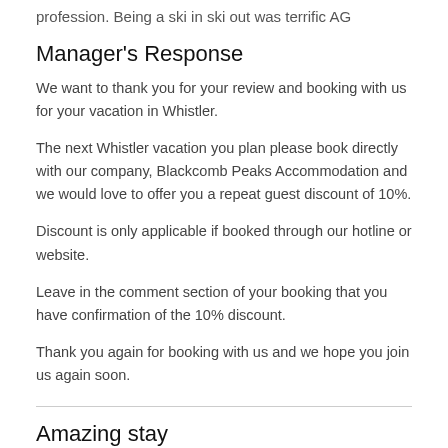profession. Being a ski in ski out was terrific AG
Manager's Response
We want to thank you for your review and booking with us for your vacation in Whistler.
The next Whistler vacation you plan please book directly with our company, Blackcomb Peaks Accommodation and we would love to offer you a repeat guest discount of 10%.
Discount is only applicable if booked through our hotline or website.
Leave in the comment section of your booking that you have confirmation of the 10% discount.
Thank you again for booking with us and we hope you join us again soon.
Amazing stay
August 2018